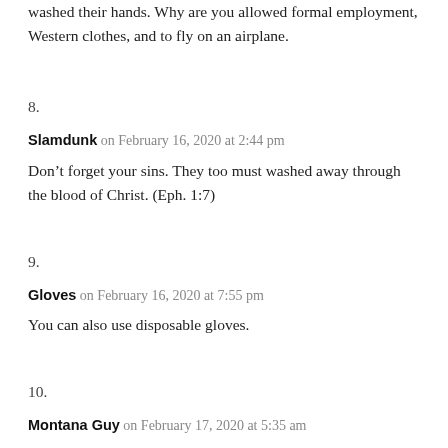washed their hands. Why are you allowed formal employment, Western clothes, and to fly on an airplane.
8.
Slamdunk on February 16, 2020 at 2:44 pm
Don’t forget your sins. They too must washed away through the blood of Christ. (Eph. 1:7)
9.
Gloves on February 16, 2020 at 7:55 pm
You can also use disposable gloves.
10.
Montana Guy on February 17, 2020 at 5:35 am